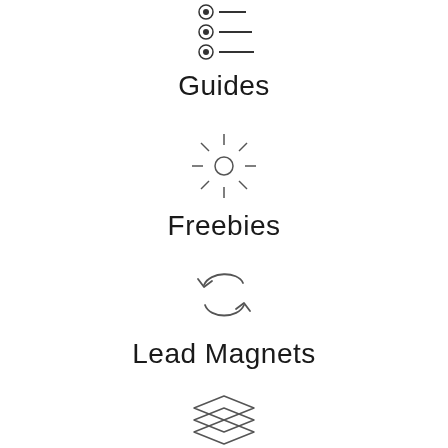[Figure (illustration): Radio button list icon showing three radio buttons with lines]
Guides
[Figure (illustration): Sun/sparkle icon with rays]
Freebies
[Figure (illustration): Two curved arrows forming a cycle/repeat icon]
Lead Magnets
[Figure (illustration): Stacked layers icon with three diamond/rhombus shapes]